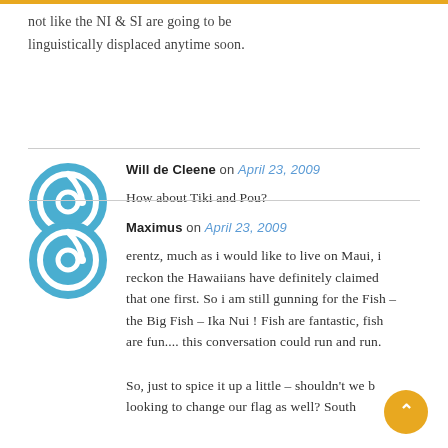not like the NI & SI are going to be linguistically displaced anytime soon.
Will de Cleene on April 23, 2009
How about Tiki and Pou?
Maximus on April 23, 2009
erentz, much as i would like to live on Maui, i reckon the Hawaiians have definitely claimed that one first. So i am still gunning for the Fish – the Big Fish – Ika Nui ! Fish are fantastic, fish are fun.... this conversation could run and run.

So, just to spice it up a little – shouldn't we be looking to change our flag as well? South